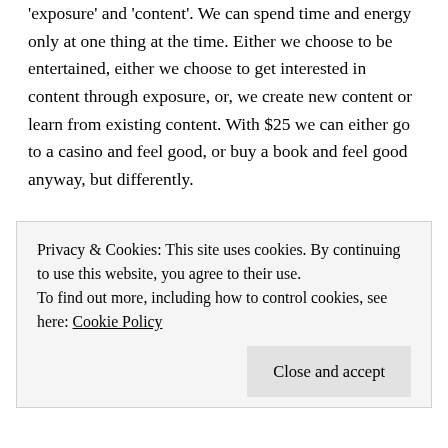'exposure' and 'content'. We can spend time and energy only at one thing at the time. Either we choose to be entertained, either we choose to get interested in content through exposure, or, we create new content or learn from existing content. With $25 we can either go to a casino and feel good, or buy a book and feel good anyway, but differently.
Besides the nuance, or the non-nuance, of fast media, there is also a group, mainly girls, who are very vulnerable. Their insecurity, their wish to be liked, to be appreciated, and their easiness of being manipulated by men who
Privacy & Cookies: This site uses cookies. By continuing to use this website, you agree to their use.
To find out more, including how to control cookies, see here: Cookie Policy
Close and accept